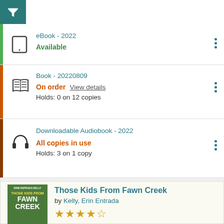eBook - 2022
Available
Book - 20220809
On order View details
Holds: 0 on 12 copies
Downloadable Audiobook - 2022
All copies in use
Holds: 3 on 1 copy
[Figure (illustration): Book cover for 'Those Kids From Fawn Creek' by Erin Entrada Kelly, showing children near water with green foliage]
Those Kids From Fawn Creek
by Kelly, Erin Entrada
★★★★½